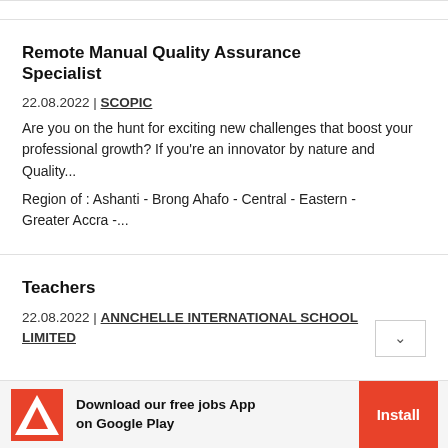Remote Manual Quality Assurance Specialist
22.08.2022 | SCOPIC
Are you on the hunt for exciting new challenges that boost your professional growth? If you're an innovator by nature and Quality...
Region of : Ashanti - Brong Ahafo - Central - Eastern - Greater Accra -...
Teachers
22.08.2022 | ANNCHELLE INTERNATIONAL SCHOOL LIMITED
[Figure (logo): Adobe/App logo - red triangle A on white background]
Download our free jobs App on Google Play
Install